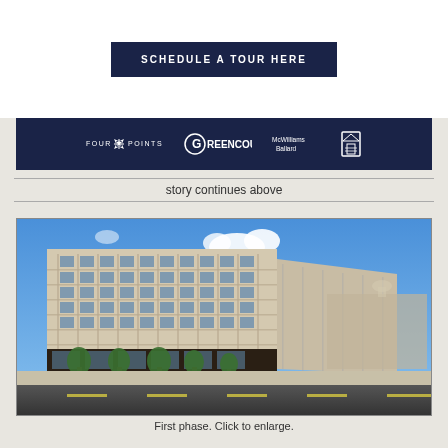[Figure (other): Button: SCHEDULE A TOUR HERE on dark navy background, white text]
[Figure (logo): Dark navy banner with logos: Four Points star logo, Greencourt G logo, McWilliams Ballard logo, Equal Housing Opportunity logo]
story continues above
[Figure (photo): Architectural rendering of a large mixed-use building development. Multi-story beige/cream building with large windows, ground floor retail with dark facade, trees lining the street. Blue sky with clouds. Capitol building visible in background distance. Street with road markings in foreground.]
First phase. Click to enlarge.